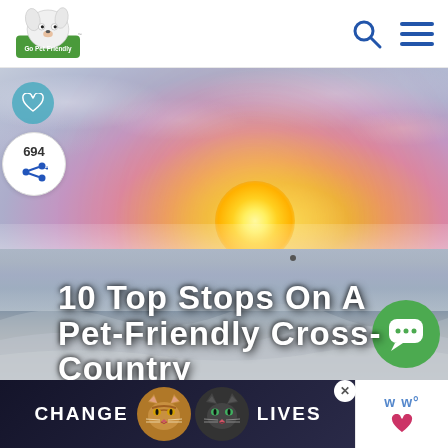Go Pet Friendly
[Figure (photo): Sunset over ocean beach with golden sun on horizon, orange and pink sky with clouds, waves on sandy shore]
10 Top Stops On A Pet-Friendly Cross-Country
[Figure (infographic): Advertisement banner: CHANGE LIVES with two cat faces, close button X, and bottom right weather/heart icons]